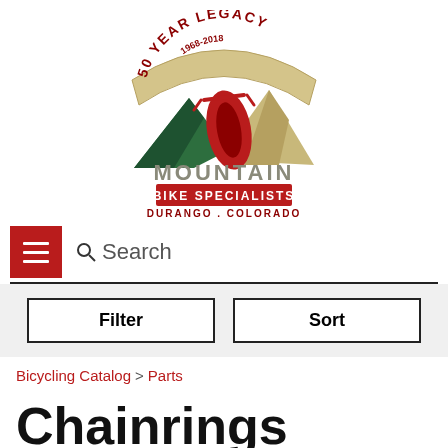[Figure (logo): Mountain Bike Specialists logo — '50 YEAR LEGACY 1968-2018' banner with mountain/cyclist illustration and 'MOUNTAIN BIKE SPECIALISTS DURANGO . COLORADO' text]
Search
Filter   Sort
Bicycling Catalog > Parts
Chainrings